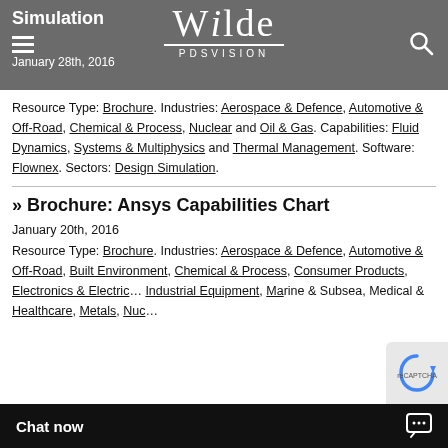Simulation | January 28th, 2016 | Wilde PDSVISION
Resource Type: Brochure. Industries: Aerospace & Defence, Automotive & Off-Road, Chemical & Process, Nuclear and Oil & Gas. Capabilities: Fluid Dynamics, Systems & Multiphysics and Thermal Management. Software: Flownex. Sectors: Design Simulation.
» Brochure: Ansys Capabilities Chart
January 20th, 2016
Resource Type: Brochure. Industries: Aerospace & Defence, Automotive & Off-Road, Built Environment, Chemical & Process, Consumer Products, Electronics & Electrical, Industrial Equipment, Marine & Subsea, Medical & Healthcare, Metals, Nuclear...